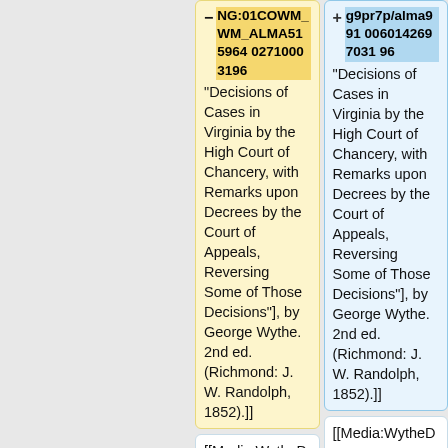— NG:01COWM_WM_ALMA515964 02710003196 "Decisions of Cases in Virginia by the High Court of Chancery, with Remarks upon Decrees by the Court of Appeals, Reversing Some of Those Decisions"], by George Wythe. 2nd ed. (Richmond: J. W. Randolph, 1852).]]
+ g9pr7p/alma9910060142697031 96 "Decisions of Cases in Virginia by the High Court of Chancery, with Remarks upon Decrees by the Court of Appeals, Reversing Some of Those Decisions"], by George Wythe. 2nd ed. (Richmond: J. W. Randolph, 1852).]]
[[Media:WytheDecisions1852CochranVStreet.pdf|" Cochran...
[[Media:WytheDecisions1852CochranVStreet.pdf|" Cochran...